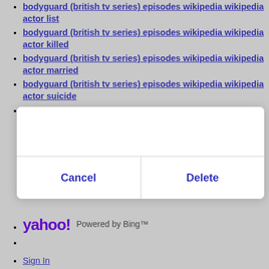bodyguard (british tv series) episodes wikipedia wikipedia actor list
bodyguard (british tv series) episodes wikipedia wikipedia actor killed
bodyguard (british tv series) episodes wikipedia wikipedia actor married
bodyguard (british tv series) episodes wikipedia wikipedia actor suicide
bodyguard (british tv series) episodes wikipedia wikipedia actor net worth
[Figure (screenshot): A modal dialog overlay with white background, containing a top empty area and two buttons at the bottom: Cancel (left) and Delete (right), separated by a vertical divider.]
yahoo! Powered by Bing™
Sign In
Help
Privacy/Terms (Updated)
Privacy Dashboard